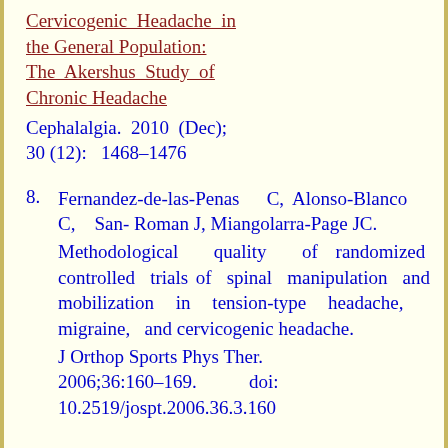Cervicogenic Headache in the General Population: The Akershus Study of Chronic Headache
Cephalalgia. 2010 (Dec); 30 (12):  1468–1476
8. Fernandez-de-las-Penas C, Alonso-Blanco C, San-Roman J, Miangolarra-Page JC. Methodological quality of randomized controlled trials of spinal manipulation and mobilization in tension-type headache, migraine, and cervicogenic headache. J Orthop Sports Phys Ther. 2006;36:160–169. doi: 10.2519/jospt.2006.36.3.160